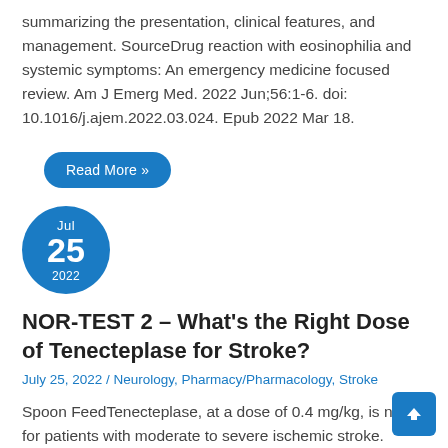summarizing the presentation, clinical features, and management. SourceDrug reaction with eosinophilia and systemic symptoms: An emergency medicine focused review. Am J Emerg Med. 2022 Jun;56:1-6. doi: 10.1016/j.ajem.2022.03.024. Epub 2022 Mar 18.
Read More »
[Figure (infographic): Blue circle date badge showing Jul 25 2022]
NOR-TEST 2 – What's the Right Dose of Tenecteplase for Stroke?
July 25, 2022 / Neurology, Pharmacy/Pharmacology, Stroke
Spoon FeedTenecteplase, at a dose of 0.4 mg/kg, is not s for patients with moderate to severe ischemic stroke.